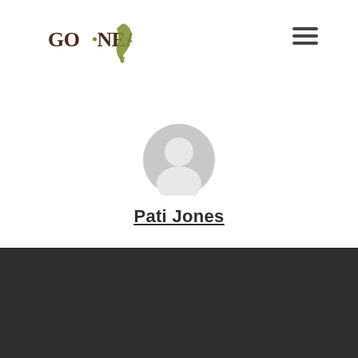[Figure (logo): GO NEAR logo with Africa continent silhouette and footprint icon, dark olive/brown text]
[Figure (illustration): Hamburger menu icon (three horizontal lines) in dark gray, top right corner]
[Figure (illustration): Generic user avatar - gray circle with white person silhouette]
Pati Jones
Previous Post
Short-term missions have long-term